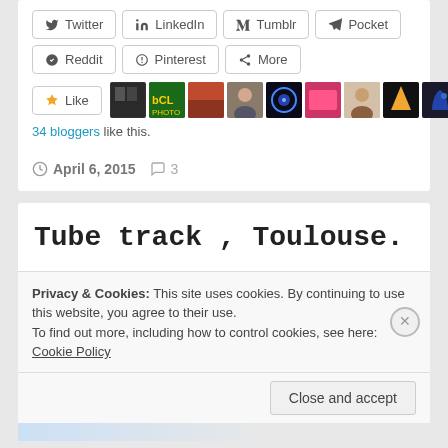Twitter  LinkedIn  Tumblr  Pocket  Reddit  Pinterest  More
[Figure (screenshot): Row of avatar/profile images of bloggers who liked the post]
34 bloggers like this.
April 6, 2015   3
Tube track , Toulouse.
Privacy & Cookies: This site uses cookies. By continuing to use this website, you agree to their use.
To find out more, including how to control cookies, see here: Cookie Policy
Close and accept